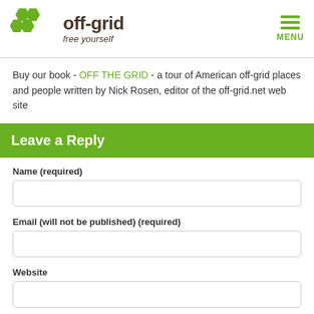[Figure (logo): off-grid free yourself logo with green hexagon shapes and brown text]
Buy our book - OFF THE GRID - a tour of American off-grid places and people written by Nick Rosen, editor of the off-grid.net web site
Leave a Reply
Name (required)
Email (will not be published) (required)
Website